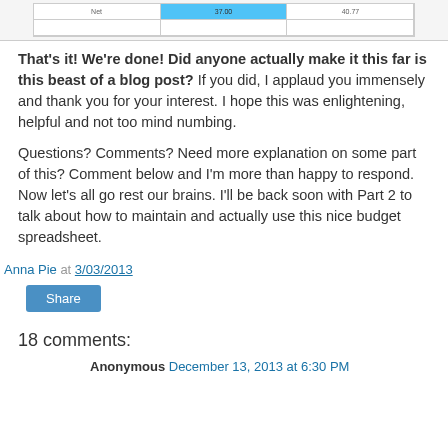[Figure (table-as-image): Partial view of a spreadsheet table with a highlighted cell in cyan/blue]
That's it! We're done! Did anyone actually make it this far is this beast of a blog post?  If you did, I applaud you immensely and thank you for your interest.   I hope this was enlightening, helpful and not too mind numbing.
Questions? Comments? Need more explanation on some part of this?  Comment below and I'm more than happy to respond.  Now let's all go rest our brains.  I'll be back soon with Part 2 to talk about how to maintain and actually use this nice budget spreadsheet.
Anna Pie at 3/03/2013
Share
18 comments:
Anonymous December 13, 2013 at 6:30 PM